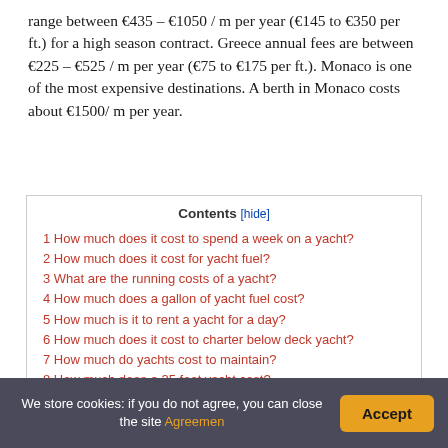range between €435 – €1050 / m per year (€145 to €350 per ft.) for a high season contract. Greece annual fees are between €225 – €525 / m per year (€75 to €175 per ft.). Monaco is one of the most expensive destinations. A berth in Monaco costs about €1500/ m per year.
| 1 How much does it cost to spend a week on a yacht? |
| 2 How much does it cost for yacht fuel? |
| 3 What are the running costs of a yacht? |
| 4 How much does a gallon of yacht fuel cost? |
| 5 How much is it to rent a yacht for a day? |
| 6 How much does it cost to charter below deck yacht? |
| 7 How much do yachts cost to maintain? |
| 8 How much does a 35 foot yacht cost? |
| 9 How much does yacht insurance cost? |
| 10 How much fuel does a yacht use per hour? |
We store cookies: if you do not agree, you can close the site Agreemen